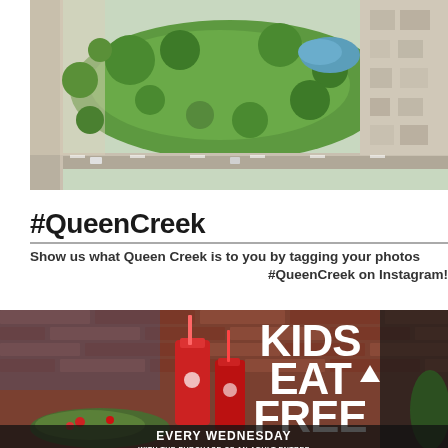[Figure (photo): Aerial view of Queen Creek neighborhood showing green park areas, streets, residential lots, and blue water features from above]
#QueenCreek
Show us what Queen Creek is to you by tagging your photos #QueenCreek on Instagram!
[Figure (photo): Restaurant promotional photo showing red drinks and food on a table with brick wall background. Large white text overlay reads: KIDS EAT FREE EVERY WEDNESDAY WITH THE PURCHASE OF AN ADULT ENTREE]